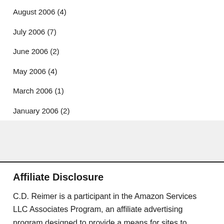September 2006 (7)
August 2006 (4)
July 2006 (7)
June 2006 (2)
May 2006 (4)
March 2006 (1)
January 2006 (2)
Affiliate Disclosure
C.D. Reimer is a participant in the Amazon Services LLC Associates Program, an affiliate advertising program designed to provide a means for sites to